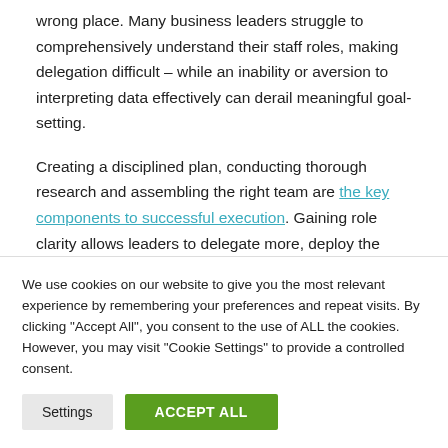wrong place. Many business leaders struggle to comprehensively understand their staff roles, making delegation difficult – while an inability or aversion to interpreting data effectively can derail meaningful goal-setting.
Creating a disciplined plan, conducting thorough research and assembling the right team are the key components to successful execution. Gaining role clarity allows leaders to delegate more, deploy the
We use cookies on our website to give you the most relevant experience by remembering your preferences and repeat visits. By clicking "Accept All", you consent to the use of ALL the cookies. However, you may visit "Cookie Settings" to provide a controlled consent.